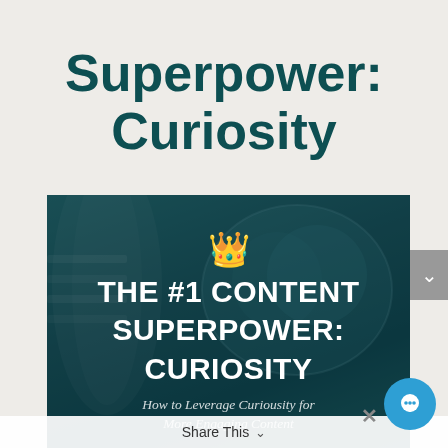Superpower:
Curiosity
[Figure (photo): Dark teal-tinted overlay image showing a decorative bowl with round objects (possibly fruit/eggs), with text overlay reading 'THE #1 CONTENT SUPERPOWER: CURIOSITY' and a crown emoji above, plus subtitle 'How to Leverage Curiosity for More Engaging Content']
Share This